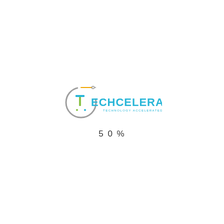[Figure (logo): Techcelerated logo with circular circuit icon and text 'TECHCELERATED - TECHNOLOGY ACCELERATED!']
50%